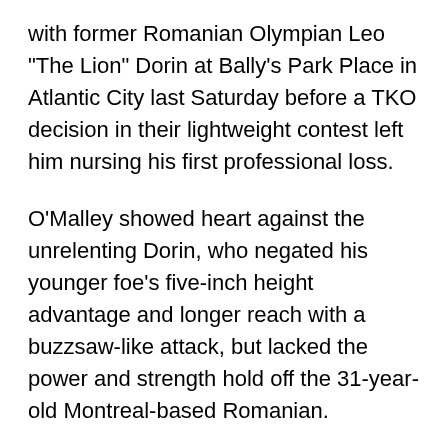with former Romanian Olympian Leo "The Lion" Dorin at Bally's Park Place in Atlantic City last Saturday before a TKO decision in their lightweight contest left him nursing his first professional loss.
O'Malley showed heart against the unrelenting Dorin, who negated his younger foe's five-inch height advantage and longer reach with a buzzsaw-like attack, but lacked the power and strength hold off the 31-year-old Montreal-based Romanian.
Back in New York, a day after the match, which launched the Showtime cable network's new "ShoBox" boxing series for young prospects, O'Malley's advisor, Martin Somers, attributed his charge's lack of power to the left bicep muscle he